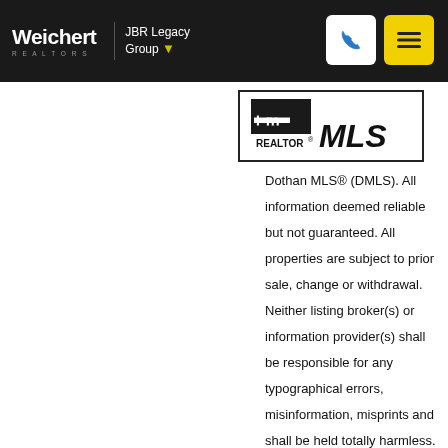Weichert REALTORS | JBR Legacy Group
[Figure (logo): REALTOR MLS logo badge with black background and white text]
Dothan MLS® (DMLS). All information deemed reliable but not guaranteed. All properties are subject to prior sale, change or withdrawal. Neither listing broker(s) or information provider(s) shall be responsible for any typographical errors, misinformation, misprints and shall be held totally harmless. Listing(s)